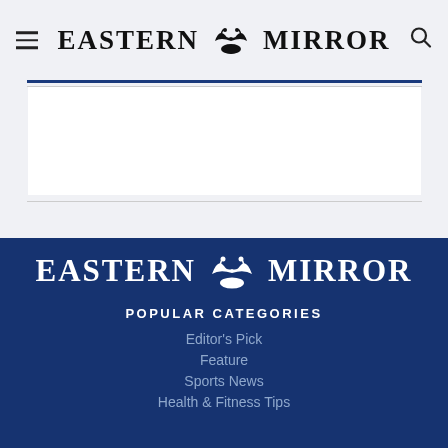Eastern Mirror
[Figure (other): White advertisement area between header and footer]
[Figure (logo): Eastern Mirror logo on dark blue background]
POPULAR CATEGORIES
Editor's Pick
Feature
Sports News
Health & Fitness Tips